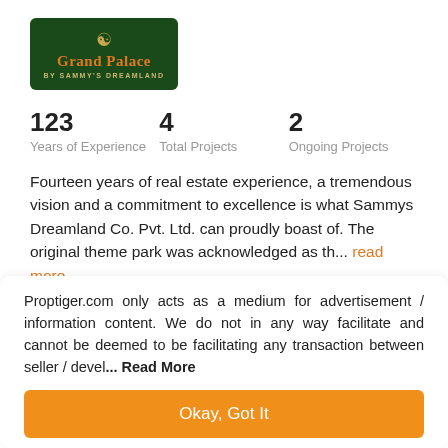[Figure (logo): Grand Palace by Sammy's Dreamland logo — dark green background with ornate crest icon, orange serif text 'Grand Palace', yellow small caps 'BY SAMMY'S DREAMLAND']
123
Years of Experience

4
Total Projects

2
Ongoing Projects
Fourteen years of real estate experience, a tremendous vision and a commitment to excellence is what Sammys Dreamland Co. Pvt. Ltd. can proudly boast of. The original theme park was acknowledged as th... read more
Proptiger.com only acts as a medium for advertisement / information content. We do not in any way facilitate and cannot be deemed to be facilitating any transaction between seller / devel... Read More
Okay, Got It